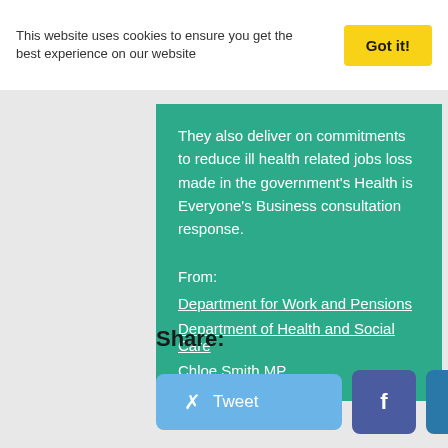This website uses cookies to ensure you get the best experience on our website
Got it!
They also deliver on commitments to reduce ill health related jobs loss made in the government's Health is Everyone's Business consultation response.
From:
Department for Work and Pensions
Department of Health and Social Care
Chloe Smith MP
Share:
Tweet
f
in